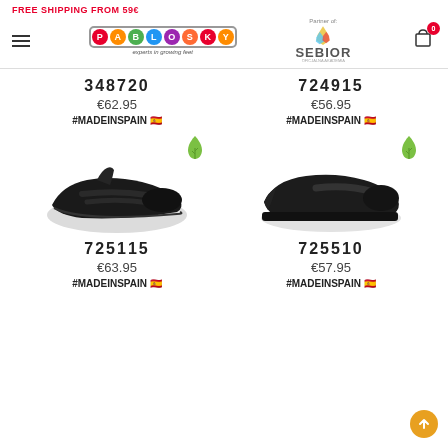FREE SHIPPING FROM 59€
[Figure (logo): Pablosky logo with colored letter bubbles and tagline 'experts in growing feet']
[Figure (logo): Sebior partner logo with paint drop icon]
[Figure (illustration): Shopping cart icon with badge showing 0]
348720
€62.95
#MADEINSPAIN 🇪🇸
724915
€56.95
#MADEINSPAIN 🇪🇸
[Figure (photo): Black children's sneaker with velcro straps, model 725115]
[Figure (photo): Black children's school shoe with side strap, model 725510]
725115
€63.95
#MADEINSPAIN 🇪🇸
725510
€57.95
#MADEINSPAIN 🇪🇸